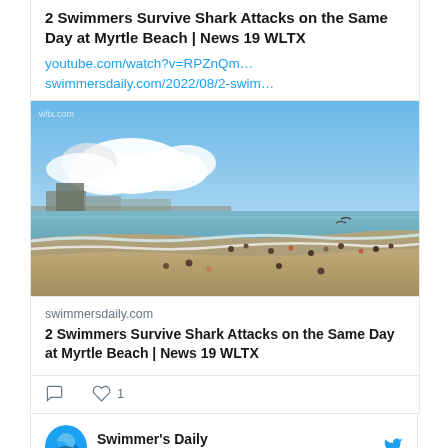2 Swimmers Survive Shark Attacks on the Same Day at Myrtle Beach | News 19 WLTX
youtube.com/watch?v=RPZnQm…
swimmersdaily.com/2022/08/2-swim…
[Figure (photo): Beach scene at Myrtle Beach showing sandy shoreline with gentle waves, beachgoers in the water and on the sand, buildings in the background, blue sky with white clouds. Watermark: wltx.com]
swimmersdaily.com
2 Swimmers Survive Shark Attacks on the Same Day at Myrtle Beach | News 19 WLTX
1 like
Swimmer's Daily @swimmersdaily · Aug 20